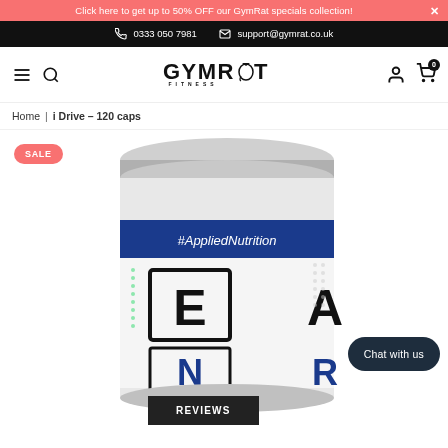Click here to get up to 50% OFF our GymRat specials collection! ×
📞 0333 050 7981  ✉ support@gymrat.co.uk
GYMRAT FITNESS
Home | i Drive – 120 caps
[Figure (photo): Product photo of Applied Nutrition i Drive supplement capsule container — large white and silver jar with blue label band reading #AppliedNutrition, partial text visible on front label. SALE badge in pink top-left.]
SALE
Chat with us
REVIEWS